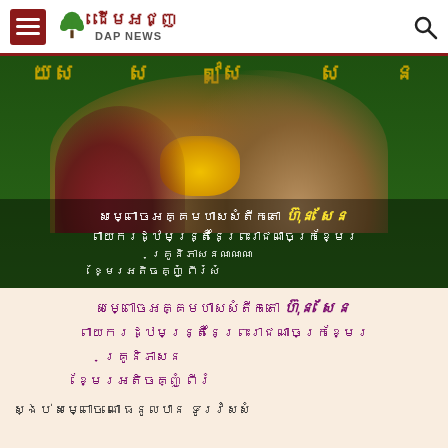ដើមអជ្ញ DAP NEWS
[Figure (photo): Two people in formal attire — a man in maroon academic robes with gold trim and a yellow graduation cap, and a woman in traditional Khmer clothing holding a bouquet of yellow flowers. Background has green Khmer script. Overlaid Khmer text caption in white/yellow on dark overlay.]
សម្ពោចអតំបរាំសសាំតីកោ ហ៊ុន សែន ពាយករដ្ឋមន្ត្រីនៃព្រះរាជណាចក្រខ្មែរ គ្រូនិភាសន​ន​ណ​សណ្ដាំបប្រចណ្ណិតតិ​ត​ំ​ស ខ្មែរអតិចគ្ញូំ ពីរំកល​​​និ​ ​ណ​ ​ំ​​​ ​ ​ ។
ស្ងប់ សម្ពោច ណោ ធនូលបាន ទូររំសាំ​​​​ ​​ ​ ​ ​ ​​ ​ ​ ​​ ​ ​ ​ ​ ​ ​ ​ ​ ​ ​ ​ ​ ​ ​ ​ ​​ ​ ​ ​ ​ ​ ​ ​ ​ ​ ​ ​ ​ ​ ​ ​ ​ ​ ​ ​ ​ ​ ​ ​ ​ ​ ​ ​ ​ ​ ​ ​ ​ ​​ ​ ​ ​ ​ ​ ​ ​ ​ ​ ​ ​ ​ ​ ​ ​ ​ ​ ​ ​ ​ ​ ​ ​ ​ ​ ​ ​ ​ ​ ​ ​ ​​ ​ ​ ​ ​ ​ ​ ​ ​ ​ ​ ​ ​ ​ ​ ​ ​ ​ ​ ​ ​ ​ ​ ​ ​ ​ ​ ​ ​ ​ ​ ​ ​